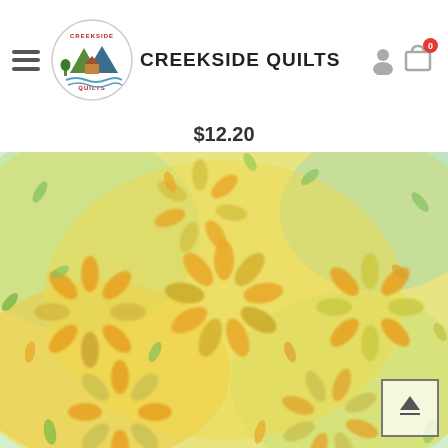CREEKSIDE QUILTS
$12.20
[Figure (photo): Close-up photo of a batik quilt fabric with yellow/orange and green floral petal patterns on a light background.]